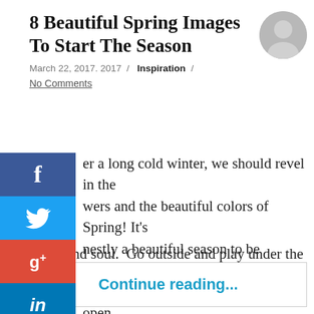8 Beautiful Spring Images To Start The Season
March 22, 2017. 2017  /  Inspiration  /
No Comments
After a long cold winter, we should revel in the flowers and the beautiful colors of Spring! It's honestly a beautiful season to be inspired by nature and its delicious scents. So go on, open your windows and doors; and let Spring fill your home and soul. Go outside and play under the warm sun,
Continue reading...